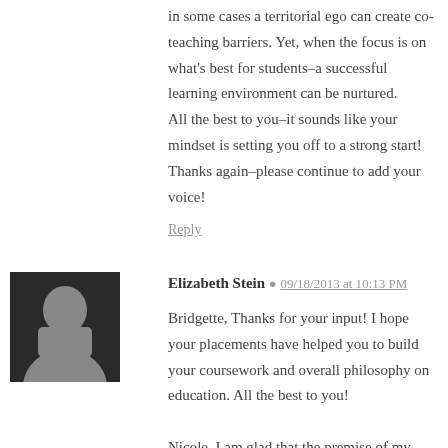in some cases a territorial ego can create co-teaching barriers. Yet, when the focus is on what's best for students–a successful learning environment can be nurtured.
All the best to you–it sounds like your mindset is setting you off to a strong start!
Thanks again–please continue to add your voice!
Reply
Elizabeth Stein  09/18/2013 at 10:13 PM
Bridgette, Thanks for your input! I hope your placements have helped you to build your coursework and overall philosophy on education. All the best to you!

Nicole, I am glad that the premise of my post resonated with you! You are so right–communication is at the heart for all teachers to be successful. And now with the common core, collaboration is essential in order to guide everyone (teachers and students!) to achieve. All the best! Thanks for sharing your view!